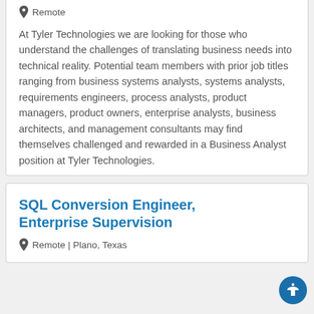📍 Remote
At Tyler Technologies we are looking for those who understand the challenges of translating business needs into technical reality. Potential team members with prior job titles ranging from business systems analysts, systems analysts, requirements engineers, process analysts, product managers, product owners, enterprise analysts, business architects, and management consultants may find themselves challenged and rewarded in a Business Analyst position at Tyler Technologies.
SQL Conversion Engineer, Enterprise Supervision
📍 Remote | Plano, Texas